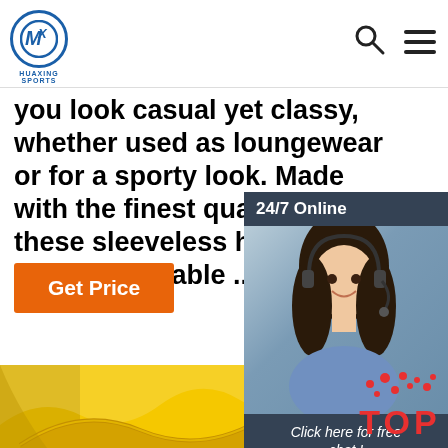HUAXING SPORTS — navigation bar with logo, search icon, menu icon
you look casual yet classy, whether used as loungewear or for a sporty look. Made with the finest quality fabrics, these sleeveless hoodie t shirt are durable ...
Get Price
[Figure (photo): Customer service representative woman with headset smiling, with '24/7 Online' banner, 'Click here for free chat!' text, and QUOTATION orange button — chat widget overlay on right side]
[Figure (photo): Close-up of yellow athletic fabric/sleeveless shirt collar area]
[Figure (other): TOP back-to-top button with red dots and red TOP text]